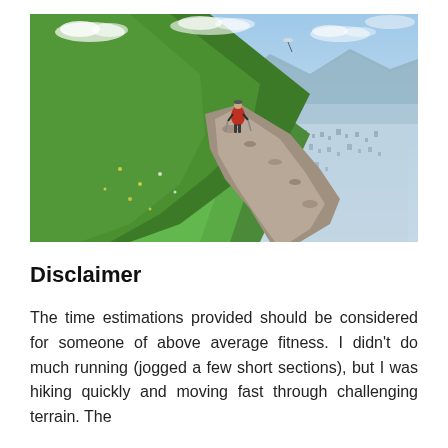[Figure (photo): A hiker in a red jacket walking on a rocky mountain trail with steep green grassy slopes on the left and a panoramic view of a city valley and mountains in the background under a partly cloudy sky.]
Disclaimer
The time estimations provided should be considered for someone of above average fitness. I didn't do much running (jogged a few short sections), but I was hiking quickly and moving fast through challenging terrain. The